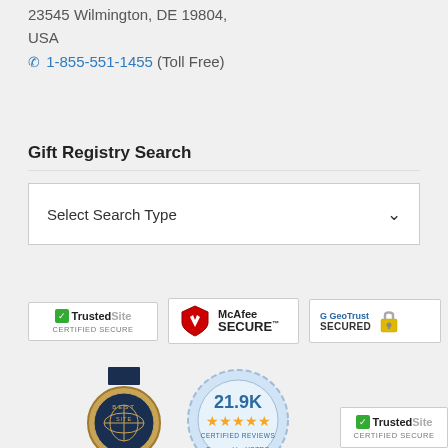23545 Wilmington, DE 19804, USA
☎ 1-855-551-1455 (Toll Free)
Gift Registry Search
Select Search Type
[Figure (logo): TrustedSite Certified Secure badge]
[Figure (logo): McAfee SECURE badge]
[Figure (logo): GeoTrust Secured badge]
[Figure (logo): Best Site medal badge]
[Figure (logo): 21.9K Certified Reviews badge powered by YOTPO]
[Figure (logo): TrustedSite Certified Secure badge (bottom right)]